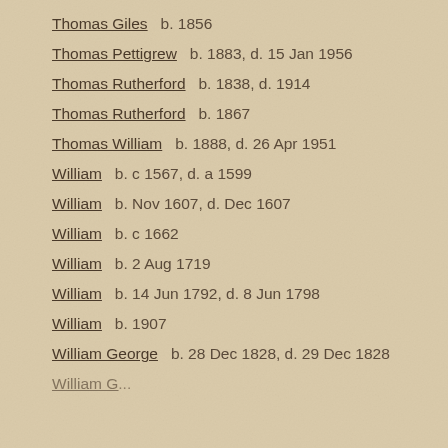Thomas Giles   b. 1856
Thomas Pettigrew   b. 1883, d. 15 Jan 1956
Thomas Rutherford   b. 1838, d. 1914
Thomas Rutherford   b. 1867
Thomas William   b. 1888, d. 26 Apr 1951
William   b. c 1567, d. a 1599
William   b. Nov 1607, d. Dec 1607
William   b. c 1662
William   b. 2 Aug 1719
William   b. 14 Jun 1792, d. 8 Jun 1798
William   b. 1907
William George   b. 28 Dec 1828, d. 29 Dec 1828
William George   b. 30 Feb 1837, d. 5 Mar 1837